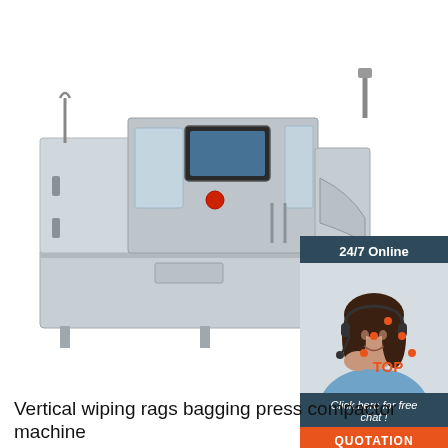[Figure (photo): Industrial vertical wiping rags bagging press compactor machine, stainless steel, with touch screen panel]
[Figure (infographic): 24/7 Online chat widget with female customer service agent wearing headset, dark blue background, orange QUOTATION button]
[Figure (illustration): Orange dotted triangle TOP back-to-top icon]
Vertical wiping rags bagging press compactor machine